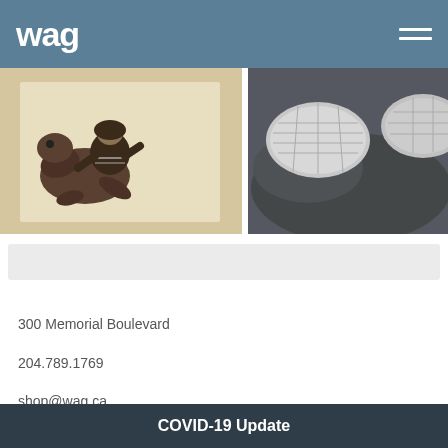wag
[Figure (photo): Left artwork: Indigenous inuit figure wrestling with a seal, illustrated print style on light background. Right artwork: Igloo or beluga whale shapes in a grey atmospheric painting.]
300 Memorial Boulevard
204.789.1769
shop@wag.ca
| DAY | HOURS |
| --- | --- |
| MONDAY | CLOSED |
| TUESDAY | 11AM - 5PM |
| WEDNESDAY | 11AM - 5PM |
COVID-19 Update